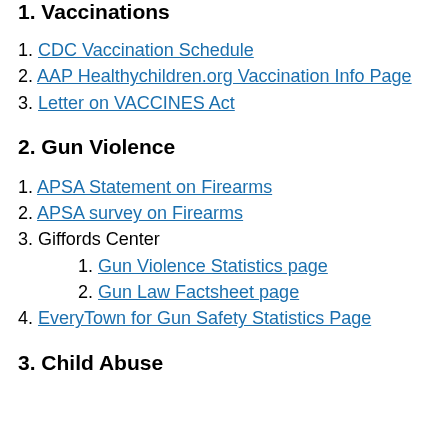1. Vaccinations
1. CDC Vaccination Schedule
2. AAP Healthychildren.org Vaccination Info Page
3. Letter on VACCINES Act
2. Gun Violence
1. APSA Statement on Firearms
2. APSA survey on Firearms
3. Giffords Center
1. Gun Violence Statistics page
2. Gun Law Factsheet page
4. EveryTown for Gun Safety Statistics Page
3. Child Abuse